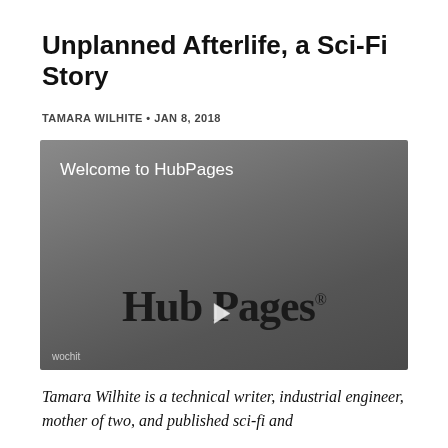Unplanned Afterlife, a Sci-Fi Story
TAMARA WILHITE • JAN 8, 2018
[Figure (screenshot): Video thumbnail showing 'Welcome to HubPages' text and HubPages logo with play button overlay on a gray gradient background. 'wochit' watermark in bottom-left corner.]
Tamara Wilhite is a technical writer, industrial engineer, mother of two, and published sci-fi and